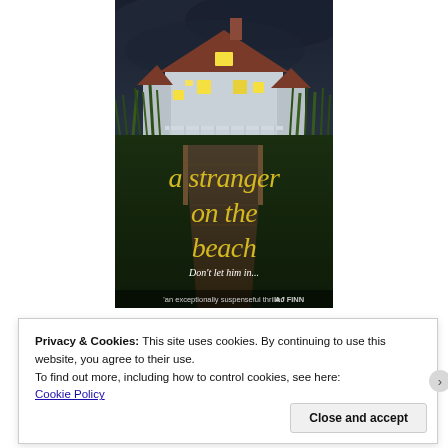[Figure (illustration): Book cover for 'a stranger on the beach' showing a dark, moody image of a beach house at night with stormy skies and tall grass in foreground. Title in large yellow/gold serif font. Tagline 'Don't let him in...' in white italic. Quote at bottom: 'an exceptionally suspenseful thriller' AJ FINN]
Privacy & Cookies: This site uses cookies. By continuing to use this website, you agree to their use.
To find out more, including how to control cookies, see here:
Cookie Policy
Close and accept